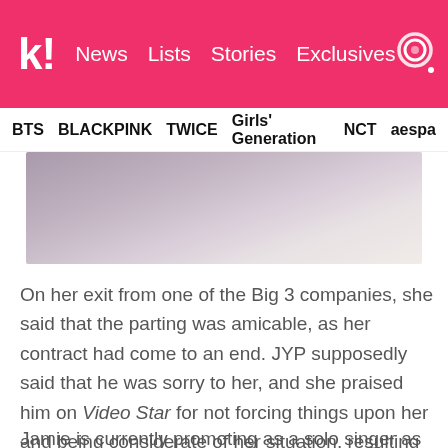k! News  Lists  Stories  Exclusives
BTS  BLACKPINK  TWICE  Girls' Generation  NCT  aespa
[Figure (photo): Close-up photo of light purple/mauve fabric or clothing, partially cropped at top of page]
On her exit from one of the Big 3 companies, she said that the parting was amicable, as her contract had come to an end. JYP supposedly said that he was sorry to her, and she praised him on Video Star for not forcing things upon her and being considerate of her situation, resulting in her being able to find the type of music she wanted to do.
Jamie is currently promoting as a solo singer as she has just wrapped up the final stages of